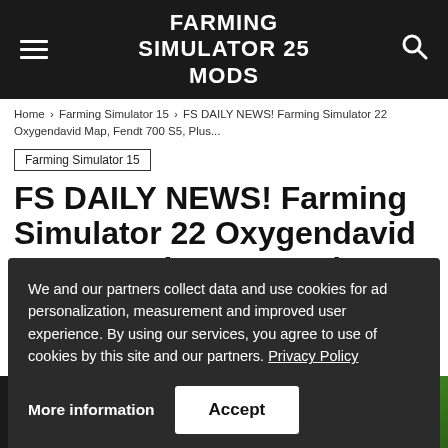FARMING SIMULATOR 25 MODS
Home › Farming Simulator 15 › FS DAILY NEWS! Farming Simulator 22 Oxygendavid Map, Fendt 700 S5, Plus...
Farming Simulator 15
FS DAILY NEWS! Farming Simulator 22 Oxygendavid Map, Fendt 700 S5, Plus More |
We and our partners collect data and use cookies for ad personalization, measurement and improved user experience. By using our services, you agree to use of cookies by this site and our partners. Privacy Policy
More information
Accept
[Figure (screenshot): Partially visible bottom banner showing 'FS DAILY' text in italic bold white on dark background with a green thumbnail on the right]